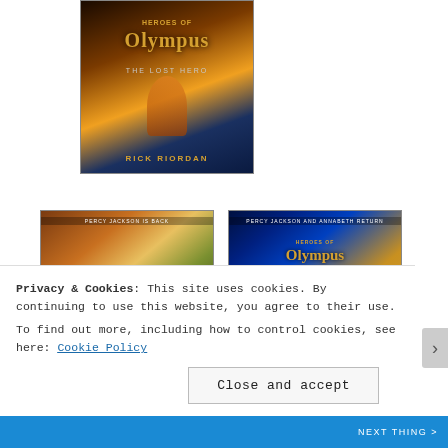[Figure (illustration): Book cover: Heroes of Olympus - The Lost Hero by Rick Riordan. Shows a figure falling over a city skyline with golden sunburst, dark fantasy art style.]
[Figure (illustration): Book cover: Heroes of Olympus - The Son of Neptune (partial view). 'Percy Jackson Is Back' banner at top. Fantasy characters with mythological imagery.]
[Figure (illustration): Book cover: Heroes of Olympus - The Mark of Athena. 'Percy Jackson and Annabeth Return' banner at top. Blue lightning background with golden Heroes of Olympus logo.]
Privacy & Cookies: This site uses cookies. By continuing to use this website, you agree to their use.
To find out more, including how to control cookies, see here: Cookie Policy
Close and accept